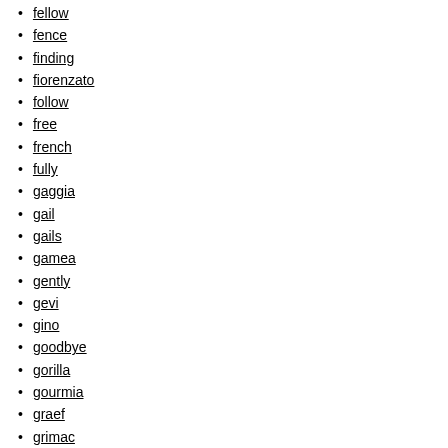fellow
fence
finding
fiorenzato
follow
free
french
fully
gaggia
gail
gails
gamea
gently
gevi
gino
goodbye
gorilla
gourmia
graef
grimac
grind
grinder
grindergc